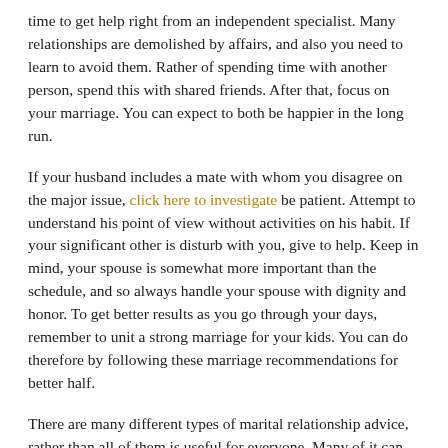time to get help right from an independent specialist. Many relationships are demolished by affairs, and also you need to learn to avoid them. Rather of spending time with another person, spend this with shared friends. After that, focus on your marriage. You can expect to both be happier in the long run.
If your husband includes a mate with whom you disagree on the major issue, click here to investigate be patient. Attempt to understand his point of view without activities on his habit. If your significant other is disturb with you, give to help. Keep in mind, your spouse is somewhat more important than the schedule, and so always handle your spouse with dignity and honor. To get better results as you go through your days, remember to unit a strong marriage for your kids. You can do therefore by following these marriage recommendations for better half.
There are many different types of marital relationship advice, rather than all of them is useful for everyone. Many of it can make facts worse than they are. Bear in mind, a marriage advice for better half should be tailored to her particular requires. A great matrimony course could make it less complicated for one to navigate the storms of the relationship. If you want to keep your